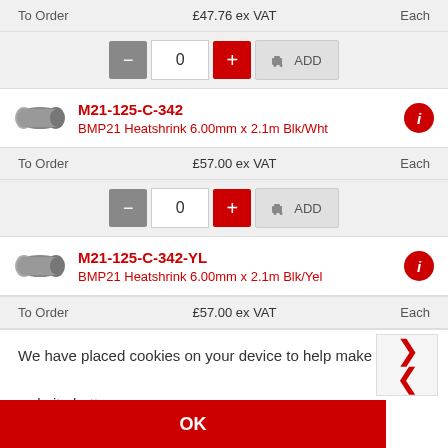To Order   £47.76 ex VAT   Each
- 0 + ADD
M21-125-C-342
BMP21 Heatshrink 6.00mm x 2.1m Blk/Wht
To Order   £57.00 ex VAT   Each
- 0 + ADD
M21-125-C-342-YL
BMP21 Heatshrink 6.00mm x 2.1m Blk/Yel
To Order   £57.00 ex VAT   Each
We have placed cookies on your device to help make this website better.
OK